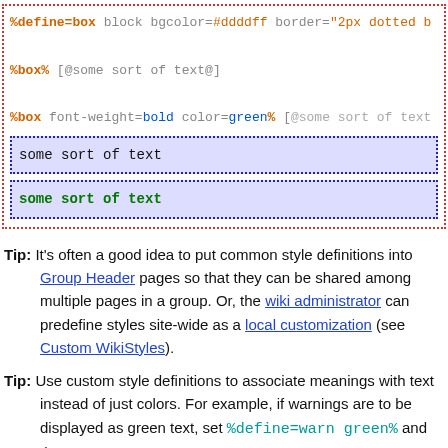[Figure (screenshot): Code block showing wiki style definitions: %define=box block bgcolor=#ddddff border='2px dotted b...', %box% [@some sort of text@], %box font-weight=bold color=green% [@some sort of text...], followed by two rendered box examples with 'some sort of text' in plain and bold green styles.]
Tip: It's often a good idea to put common style definitions into Group Header pages so that they can be shared among multiple pages in a group. Or, the wiki administrator can predefine styles site-wide as a local customization (see Custom WikiStyles).
Tip: Use custom style definitions to associate meanings with text instead of just colors. For example, if warnings are to be displayed as green text, set %define=warn green% and then